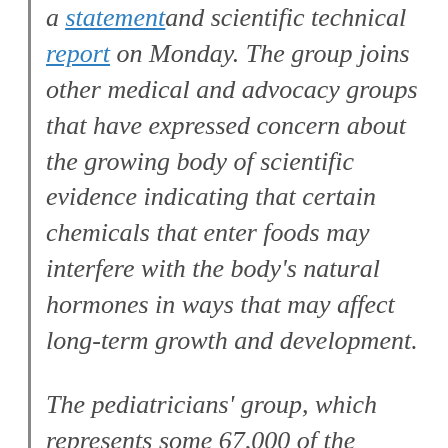a statement and scientific technical report on Monday. The group joins other medical and advocacy groups that have expressed concern about the growing body of scientific evidence indicating that certain chemicals that enter foods may interfere with the body's natural hormones in ways that may affect long-term growth and development.

The pediatricians' group, which represents some 67,000 of the country's children's doctors, is also calling for more rigorous testing and regulation of thousands of chemicals